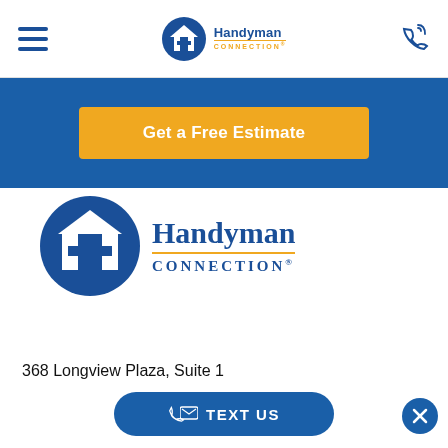[Figure (logo): Hamburger menu icon (three horizontal lines) in dark blue]
[Figure (logo): Handyman Connection logo in header — circular house icon with H, text Handyman CONNECTION]
[Figure (logo): Phone icon with signal waves in dark blue]
Get a Free Estimate
[Figure (logo): Large Handyman Connection logo — circular blue house icon with H, Handyman in dark blue serif, CONNECTION in gold/yellow serif]
368 Longview Plaza, Suite 1
TEXT US